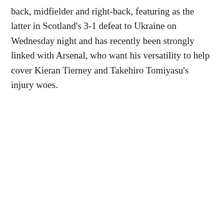back, midfielder and right-back, featuring as the latter in Scotland's 3-1 defeat to Ukraine on Wednesday night and has recently been strongly linked with Arsenal, who want his versatility to help cover Kieran Tierney and Takehiro Tomiyasu's injury woes.